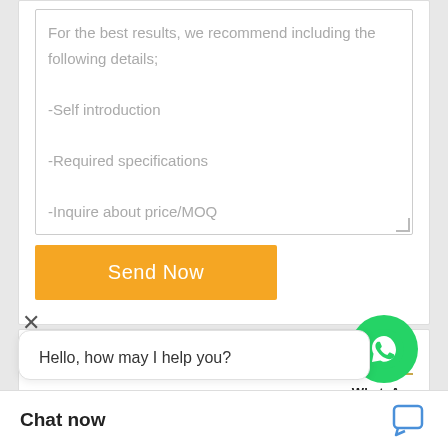For the best results, we recommend including the following details:
-Self introduction
-Required specifications
-Inquire about price/MOQ
Send Now
[Figure (logo): WhatsApp green circle logo icon with phone handset]
WhatsApp Online
NOK OIL SEAL CATEGORIES
Hydraulic Oil Seal
Metric Oil Seals (partially visible/blurred)
MORE
Hello, how may I help you?
Chat now